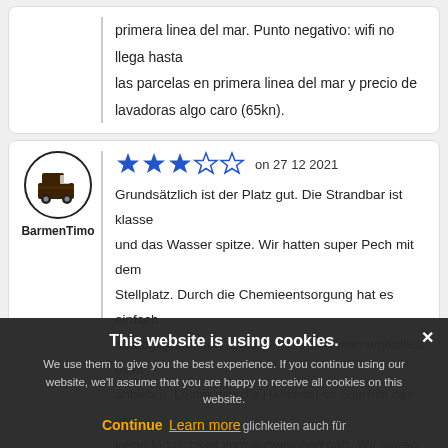primera linea del mar. Punto negativo: wifi no llega hasta las parcelas en primera linea del mar y precio de lavadoras algo caro (65kn).
[Figure (illustration): Circular avatar icon of a camper van, dark brown on white, with thick black border circle]
BarmenTimo
★★★☆☆ on 27 12 2021
Grundsätzlich ist der Platz gut. Die Strandbar ist klasse und das Wasser spitze. Wir hatten super Pech mit dem Stellplatz. Durch die Chemieentsorgung hat es einfach abartig gestunken. Diese Plätze darf man eigentlich nicht anbieten. Leider war die Halbinsel so überfüllt das es keine Möglichkeit zum ausweichen gab. Wir waren nur 3 Nächte dort, mehr hätten wir auch nicht ausgehalten.
This website is using cookies. We use them to give you the best experience. If you continue using our website, we'll assume that you are happy to receive all cookies on this website. Continue Learn more glichkeiten auch für